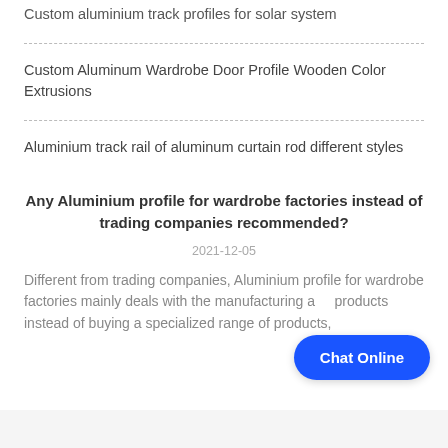Custom aluminium track profiles for solar system
Custom Aluminum Wardrobe Door Profile Wooden Color Extrusions
Aluminium track rail of aluminum curtain rod different styles
Any Aluminium profile for wardrobe factories instead of trading companies recommended?
2021-12-05
Different from trading companies, Aluminium profile for wardrobe factories mainly deals with the manufacturing a... products instead of buying a specialized range of products,